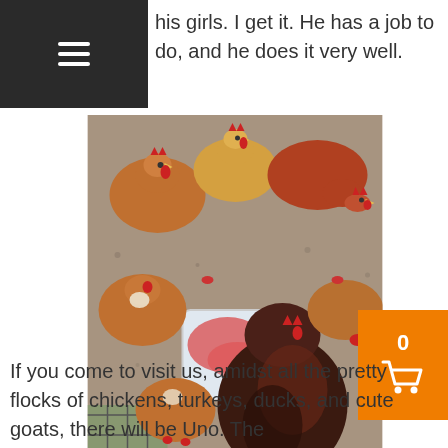his girls. I get it. He has a job to do, and he does it very well.
[Figure (photo): Overhead view of several brown and reddish chickens gathered around a pink/red-stained plastic container on a concrete surface, with a wire cage visible at lower left.]
If you come to visit us, amidst all the pretty flocks of chickens, turkeys, ducks, and cute goats, there will be Uno. The